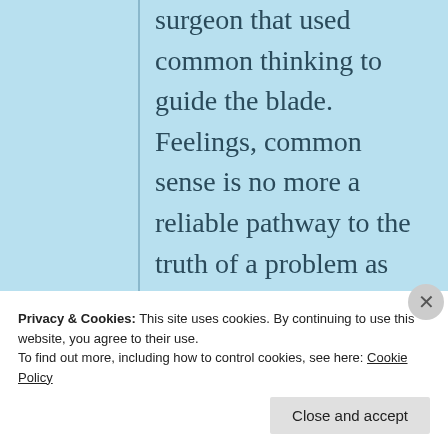surgeon that used common thinking to guide the blade. Feelings, common sense is no more a reliable pathway to the truth of a problem as flipping a coin. Just say'n.

No need to respond
Privacy & Cookies: This site uses cookies. By continuing to use this website, you agree to their use.
To find out more, including how to control cookies, see here: Cookie Policy